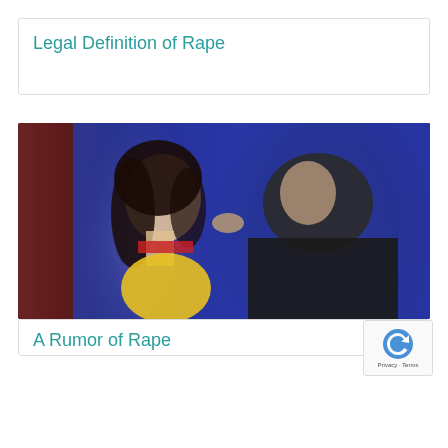Legal Definition of Rape
[Figure (photo): A dramatic scene showing a woman with dark curly hair facing a man in a dark jacket, set against a blue background, depicting a threatening/confrontational situation.]
A Rumor of Rape